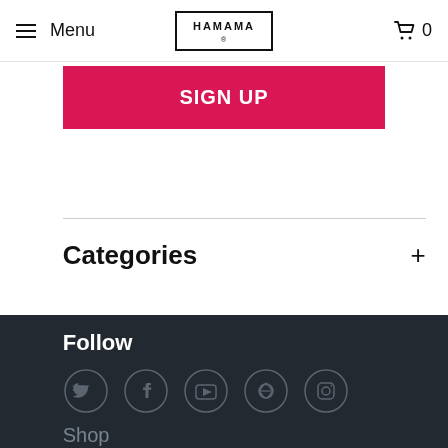Menu | HAMAMA | 0
SIGN UP
Categories +
Follow
[Figure (illustration): Social media icons: Twitter, Facebook, YouTube, Pinterest, Instagram in circles on dark background]
Shop